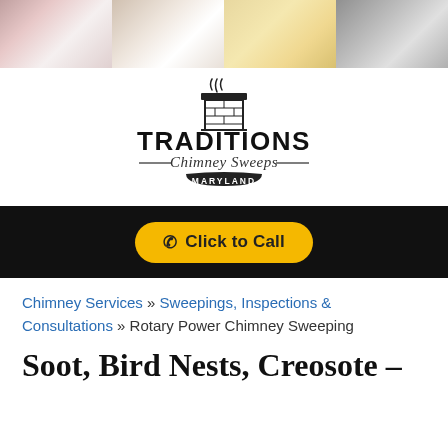[Figure (logo): Traditions Chimney Sweeps Maryland logo with chimney icon and decorative text]
Click to Call
Chimney Services » Sweepings, Inspections & Consultations » Rotary Power Chimney Sweeping
Soot, Bird Nests, Creosote –